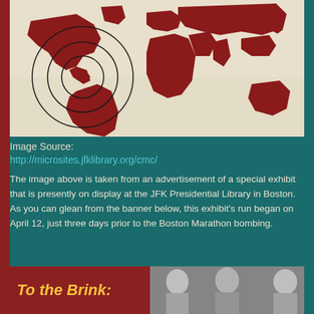[Figure (map): World map in dark red/maroon on a beige background, with concentric circles centered on Cuba/Caribbean region, highlighting the area of the Cuban Missile Crisis.]
Image Source:
http://microsites.jfklibrary.org/cmc/
The image above is taken from an advertisement of a special exhibit that is presently on display at the JFK Presidential Library in Boston. As you can glean from the banner below, this exhibit's run began on April 12, just three days prior to the Boston Marathon bombing.
[Figure (illustration): Banner for exhibit 'To the Brink:' with dark red/maroon background and yellow-orange bold italic text on the left side, and black-and-white photos of three men (Castro, Kennedy, Khrushchev) on the right side.]